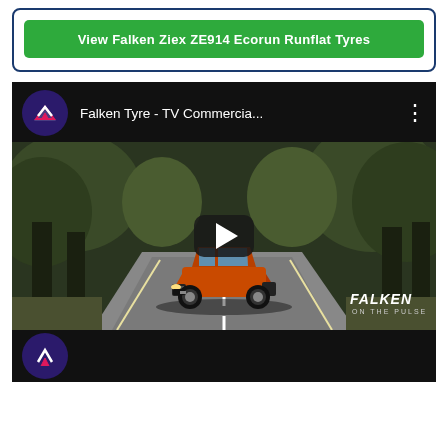[Figure (screenshot): Green button labeled 'View Falken Ziex ZE914 Ecorun Runflat Tyres' inside a blue-bordered rounded rectangle box]
[Figure (screenshot): YouTube-style embedded video player showing Falken Tyre TV Commercial with orange Nissan GT-R on a forest road. Video header shows Falken logo, title 'Falken Tyre - TV Commercia...' and three-dot menu. Large play button in center. Falken 'On The Pulse' watermark bottom right. Below the player the next video thumbnail begins with partial Falken logo circle.]